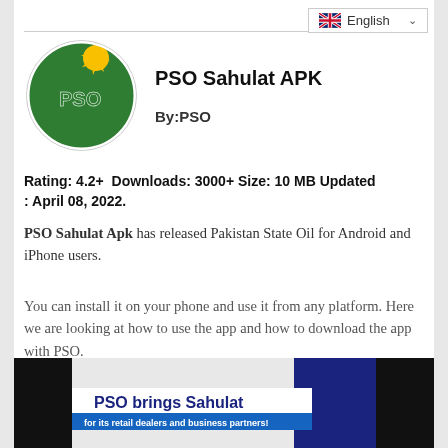English
[Figure (logo): PSO Sahulat app logo — circular logo with blue crescent, green area, PSO text in green, yellow sun]
PSO Sahulat APK
By:PSO
Rating: 4.2+  Downloads: 3000+ Size: 10 MB Updated : April 08, 2022.
PSO Sahulat Apk has released Pakistan State Oil for Android and iPhone users.
You can install it on your phone and use it from any platform. Here we are looking at how to use the app and how to download the app with PSO.
[Figure (screenshot): Screenshot showing PSO Sahulat promotional banner: 'PSO brings Sahulat for its retail dealers and business partners!' on blue/white background with dark borders on sides]